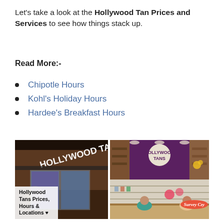Let's take a look at the Hollywood Tan Prices and Services to see how things stack up.
Read More:-
Chipotle Hours
Kohl's Holiday Hours
Hardee's Breakfast Hours
[Figure (photo): Composite of three photos: left shows Hollywood Tans exterior storefront at night with neon signage; top right shows Hollywood Tans interior with purple brand wall and products; bottom right shows customers at a Hollywood Tans counter. A 'Survey Czy' badge overlays the bottom right image.]
Hollywood Tans Prices, Hours & Locations ♥